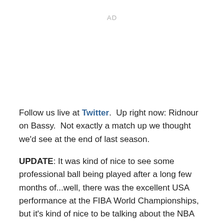AD
Follow us live at Twitter.  Up right now: Ridnour on Bassy.  Not exactly a match up we thought we'd see at the end of last season.
UPDATE: It was kind of nice to see some professional ball being played after a long few months of...well, there was the excellent USA performance at the FIBA World Championships, but it's kind of nice to be talking about the NBA again in a non-Melo trade context.